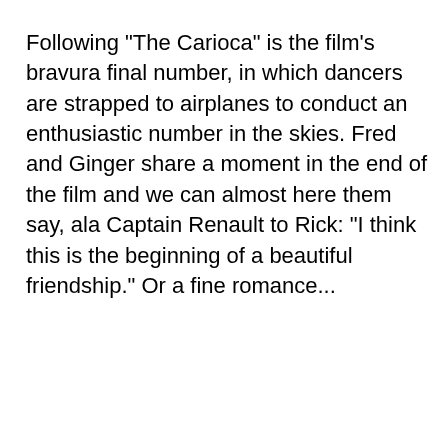Following "The Carioca" is the film's bravura final number, in which dancers are strapped to airplanes to conduct an enthusiastic number in the skies. Fred and Ginger share a moment in the end of the film and we can almost here them say, ala Captain Renault to Rick: "I think this is the beginning of a beautiful friendship." Or a fine romance...